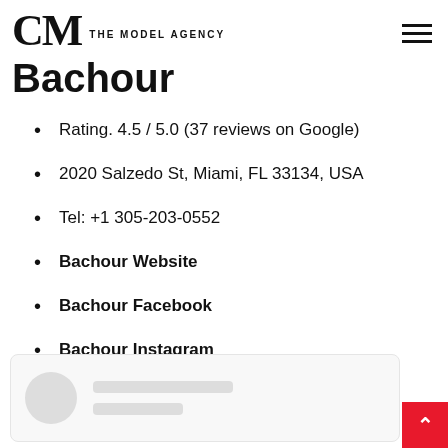CM THE MODEL AGENCY
Bachour
Rating. 4.5 / 5.0 (37 reviews on Google)
2020 Salzedo St, Miami, FL 33134, USA
Tel: +1 305-203-0552
Bachour Website
Bachour Facebook
Bachour Instagram
Bachour Tripadvisor
[Figure (screenshot): Social media loading skeleton card with circular avatar placeholder and two gray lines representing loading content]